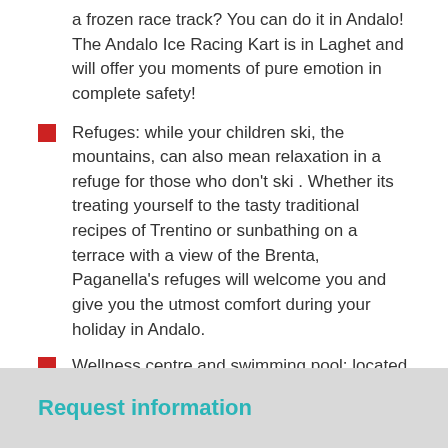a frozen race track? You can do it in Andalo! The Andalo Ice Racing Kart is in Laghet and will offer you moments of pure emotion in complete safety!
Refuges: while your children ski, the mountains, can also mean relaxation in a refuge for those who don't ski . Whether its treating yourself to the tasty traditional recipes of Trentino or sunbathing on a terrace with a view of the Brenta, Paganella's refuges will welcome you and give you the utmost comfort during your holiday in Andalo.
Wellness centre and swimming pool: located in the Andalo Park, the AcqualN wellness centre awaits you with swimming pools, a gym, a beauty area, solarium, sauna and, naturally, beauty treatments. There are lots of opportunities to spend a few hours relaxing while your children have fun with Andalo for Family activities.
Request information